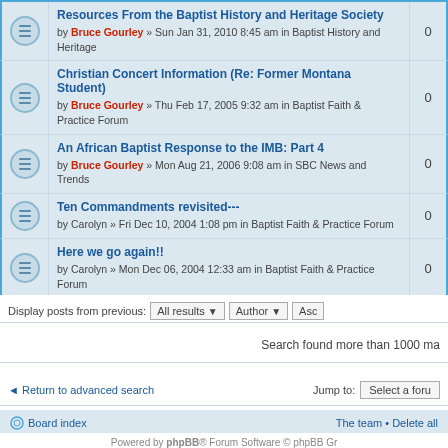Resources From the Baptist History and Heritage Society by Bruce Gourley » Sun Jan 31, 2010 8:45 am in Baptist History and Heritage — 0
Christian Concert Information (Re: Former Montana Student) by Bruce Gourley » Thu Feb 17, 2005 9:32 am in Baptist Faith & Practice Forum — 0
An African Baptist Response to the IMB: Part 4 by Bruce Gourley » Mon Aug 21, 2006 9:08 am in SBC News and Trends — 0
Ten Commandments revisited--- by Carolyn » Fri Dec 10, 2004 1:08 pm in Baptist Faith & Practice Forum — 0
Here we go again!! by Carolyn » Mon Dec 06, 2004 12:33 am in Baptist Faith & Practice Forum — 0
Display posts from previous: All results ▼  Author ▼  Asc
Search found more than 1000 ma
◄ Return to advanced search
Jump to: Select a foru
Board index   The team • Delete all
Powered by phpBB® Forum Software © phpBB Gr